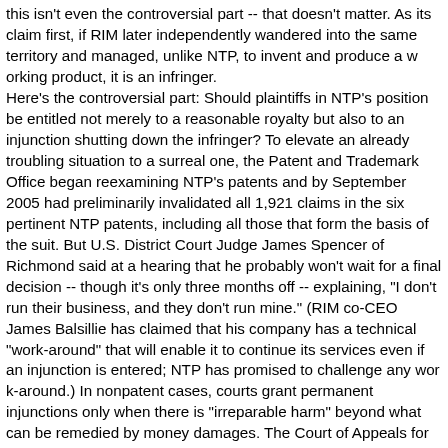this isn't even the controversial part -- that doesn't matter. As its claim first, if RIM later independently wandered into the same territory and managed, unlike NTP, to invent and produce a working product, it is an infringer. Here's the controversial part: Should plaintiffs in NTP's position be entitled not merely to a reasonable royalty but also to an injunction shutting down the infringer? To elevate an already troubling situation to a surreal one, the Patent and Trademark Office began reexamining NTP's patents and by September 2005 had preliminarily invalidated all 1,921 claims in the six pertinent NTP patents, including all those that form the basis of the suit. But U.S. District Court Judge James Spencer of Richmond said at a hearing that he probably won't wait for a final decision -- though it's only three months off -- explaining, "I don't run their business, and they don't run mine." (RIM co-CEO James Balsillie has claimed that his company has a technical "work-around" that will enable it to continue its services even if an injunction is entered; NTP has promised to challenge any work-around.) In nonpatent cases, courts grant permanent injunctions only when there is "irreparable harm" beyond what can be remedied by money damages. The Court of Appeals for the Federal Circuit, which handles all patent appeals, has consistently held that almost any victorious patent plaintiff meets this standard, since a patent grants "exclusivity" over the invention, not just compensation. Monday, the Supreme Court agreed to hear a case in which a patent holder has been given the theoretical power to shut down portions of eBay's site. The Business Software Alliance, led by companies like Apple, has argued before Congress that there is often no "irreparable ha...